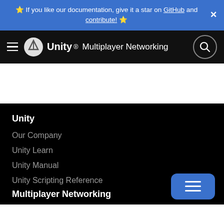⭐ If you like our documentation, give it a star on GitHub and contribute! ⭐
Unity · Multiplayer Networking
Unity
Our Company
Unity Learn
Unity Manual
Unity Scripting Reference
Multiplayer Networking